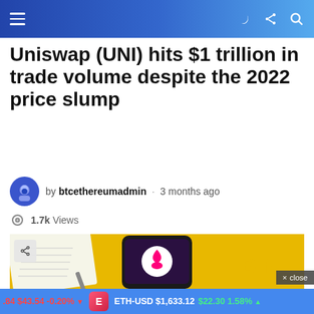Navigation header with hamburger menu, dark mode, share, and search icons
Uniswap (UNI) hits $1 trillion in trade volume despite the 2022 price slump
by btcethereumadmin · 3 months ago
1.7k Views
[Figure (photo): Article hero image showing a smartphone with the Uniswap unicorn logo on a yellow background, with a notebook and pen to the left. A share button overlay is in the top-left corner and a close button in the bottom-right.]
Join the fastest growing
$43.54 -0.20% ▼  ETH-USD $1,633.12 $22.30 1.58% ▲